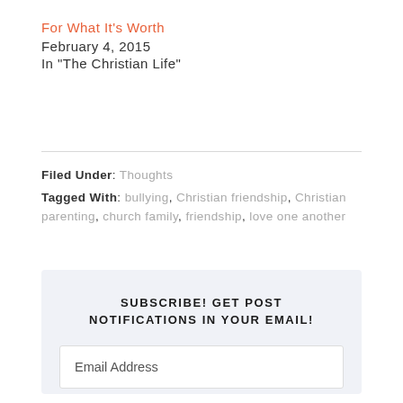For What It's Worth
February 4, 2015
In "The Christian Life"
Filed Under: Thoughts
Tagged With: bullying, Christian friendship, Christian parenting, church family, friendship, love one another
SUBSCRIBE! GET POST NOTIFICATIONS IN YOUR EMAIL!
Email Address
YES!